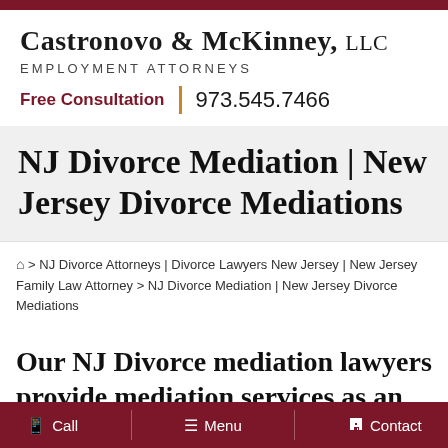Castronovo & McKinney, LLC — EMPLOYMENT ATTORNEYS — Free Consultation | 973.545.7466
NJ Divorce Mediation | New Jersey Divorce Mediations
🏠 > NJ Divorce Attorneys | Divorce Lawyers New Jersey | New Jersey Family Law Attorney > NJ Divorce Mediation | New Jersey Divorce Mediations
Our NJ Divorce mediation lawyers provide mediation services as an alternative to a costly
📱 Call   ☰ Menu   🗨 Contact